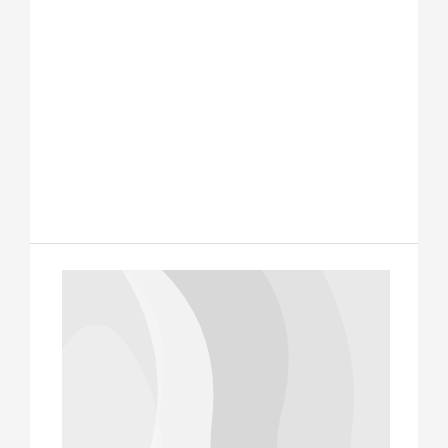[Figure (photo): Placeholder image with grey wavy abstract design, representing a Yellowstone family vacation photo]
Our Yellowstone Family Vacation and Ultimate Field Trip
[Figure (photo): Partial placeholder image with grey wavy abstract design at bottom of page]